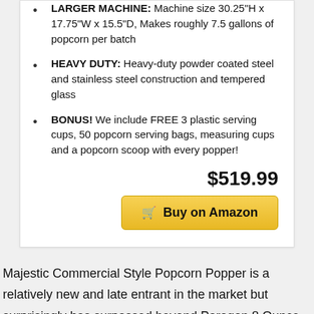LARGER MACHINE: Machine size 30.25"H x 17.75"W x 15.5"D, Makes roughly 7.5 gallons of popcorn per batch
HEAVY DUTY: Heavy-duty powder coated steel and stainless steel construction and tempered glass
BONUS! We include FREE 3 plastic serving cups, 50 popcorn serving bags, measuring cups and a popcorn scoop with every popper!
$519.99
Buy on Amazon
Majestic Commercial Style Popcorn Popper is a relatively new and late entrant in the market but surprisingly has surpassed beyond Paragon 8 Ounce Commercial Popcorn Machine which have been in market longer than anyone. Majestic Commercial Style Popcorn Popper brings you the best of the quality in the lowest possible cost. The Best